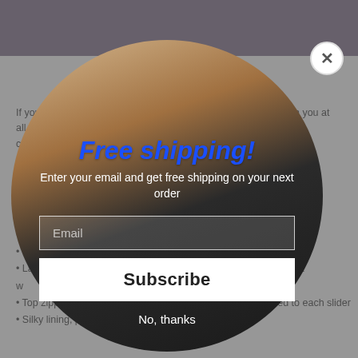[Figure (photo): Product page background showing a woman in black lingerie/dress. A purple banner is visible at top. Below the image, bullet point product features are partially visible.]
If you fe... with you at all... le con... ck po...
• (partially obscured)
• (partially obscured) and
• C...
• Ma...
• Wate...
• Large ins... laptop, a hidden pocket w... g
• Top zipper has 2 sliders,... e zipper pullers attached to each slider
• Silky lining, piped inside hems, and a soft mesh back
[Figure (photo): Modal popup overlay on top of product page. Shows a woman in black lingerie inside a circular frame. Modal contains free shipping promotion.]
Free shipping!
Enter your email and get free shipping on your next order
Email
Subscribe
No, thanks